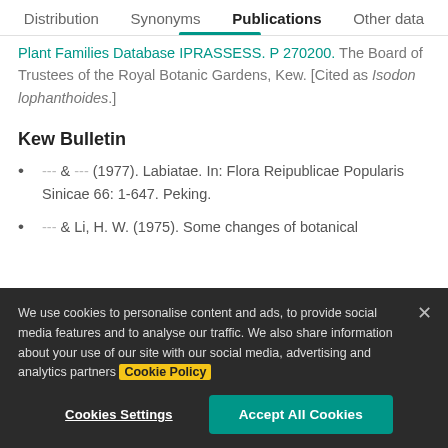Distribution  Synonyms  Publications  Other data
Plant Families Database IPRASSESS. P 270200. The Board of Trustees of the Royal Botanic Gardens, Kew. [Cited as Isodon lophanthoides.]
Kew Bulletin
--- & --- (1977). Labiatae. In: Flora Reipublicae Popularis Sinicae 66: 1-647. Peking.
--- & Li, H. W. (1975). Some changes of botanical
We use cookies to personalise content and ads, to provide social media features and to analyse our traffic. We also share information about your use of our site with our social media, advertising and analytics partners Cookie Policy
Cookies Settings  Accept All Cookies